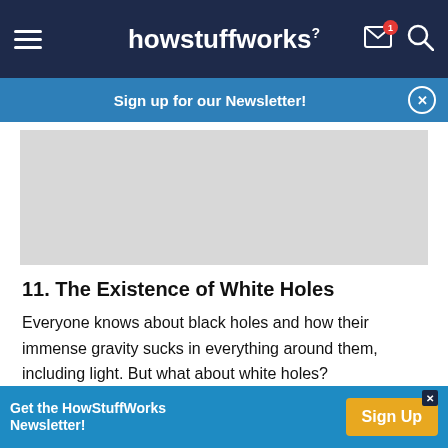howstuffworks
Sign up for our Newsletter!
[Figure (other): Gray advertisement placeholder box]
11. The Existence of White Holes
Everyone knows about black holes and how their immense gravity sucks in everything around them, including light. But what about white holes? Theoretically, they're the exact opposite of a black
Get the HowStuffWorks Newsletter!  Sign Up